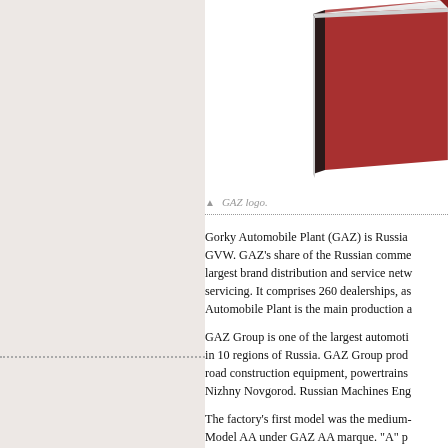[Figure (logo): GAZ logo — partial view of a red book-like object with dark spine on white background, cropped at right edge]
▲ GAZ logo.
Gorky Automobile Plant (GAZ) is Russia... GVW. GAZ's share of the Russian comme... largest brand distribution and service netw... servicing. It comprises 260 dealerships, as... Automobile Plant is the main production a...
GAZ Group is one of the largest automoti... in 10 regions of Russia. GAZ Group prod... road construction equipment, powertrains... Nizhny Novgorod. Russian Machines Eng...
The factory's first model was the medium-... Model AA under GAZ AA marque. "A" p... which time over 100,000 examples were b...
The A was succeeded by the more modern... 1936-1942. The M letter stands for Molot...